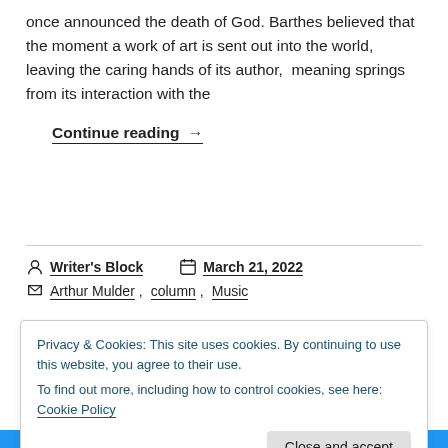once announced the death of God. Barthes believed that the moment a work of art is sent out into the world, leaving the caring hands of its author, meaning springs from its interaction with the
Continue reading →
Writer's Block   March 21, 2022
Arthur Mulder, column, Music
Privacy & Cookies: This site uses cookies. By continuing to use this website, you agree to their use.
To find out more, including how to control cookies, see here: Cookie Policy
Close and accept